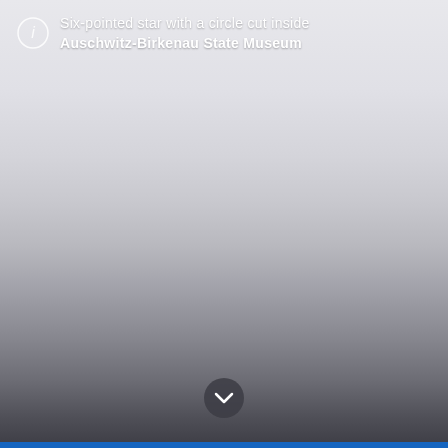[Figure (photo): A gradient background image fading from light grey/silver at the top to dark charcoal/grey at the bottom, representing a UI overlay screen. Contains an info icon with a circle, descriptive text overlay at the top, and a chevron-down button near the bottom.]
Six-pointed star with a circle cut inside
Auschwitz-Birkenau State Museum